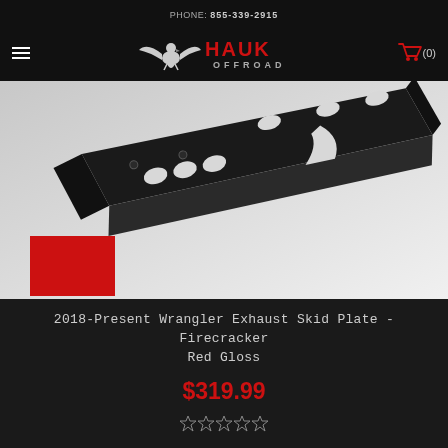PHONE: 855-339-2915
[Figure (logo): Hauk Offroad logo with eagle and red text, plus hamburger menu and shopping cart icon]
[Figure (photo): Black metal exhaust skid plate with cutouts and mounting holes, angled product shot on white/grey background with red accent block in lower left]
2018-Present Wrangler Exhaust Skid Plate - Firecracker Red Gloss
$319.99
[Figure (other): 5 empty star rating icons]